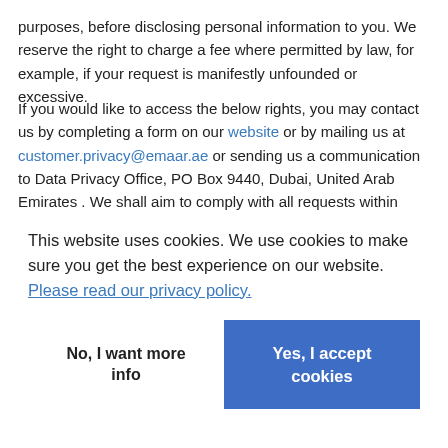purposes, before disclosing personal information to you. We reserve the right to charge a fee where permitted by law, for example, if your request is manifestly unfounded or excessive.
If you would like to access the below rights, you may contact us by completing a form on our website or by mailing us at customer.privacy@emaar.ae or sending us a communication to Data Privacy Office, PO Box 9440, Dubai, United Arab Emirates . We shall aim to comply with all requests within reasonable time in-line with applicable laws. We may not always be able to fully address your request, for example,
This website uses cookies. We use cookies to make sure you get the best experience on our website.  Please read our privacy policy.
No, I want more info
Yes, I accept cookies
n-line with applicable laws. In the event we require additional time due to